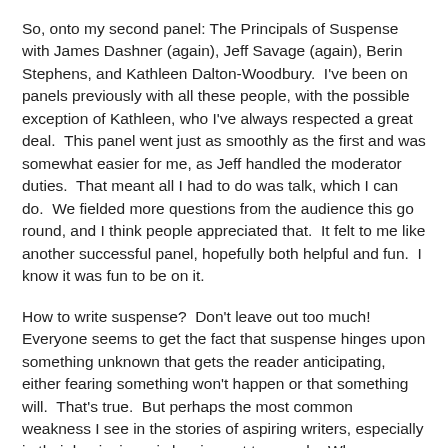So, onto my second panel: The Principals of Suspense with James Dashner (again), Jeff Savage (again), Berin Stephens, and Kathleen Dalton-Woodbury.  I've been on panels previously with all these people, with the possible exception of Kathleen, who I've always respected a great deal.  This panel went just as smoothly as the first and was somewhat easier for me, as Jeff handled the moderator duties.  That meant all I had to do was talk, which I can do.  We fielded more questions from the audience this go round, and I think people appreciated that.  It felt to me like another successful panel, hopefully both helpful and fun.  I know it was fun to be on it.
How to write suspense?  Don't leave out too much!  Everyone seems to get the fact that suspense hinges upon something unknown that gets the reader anticipating, either fearing something won't happen or that something will.  That's true.  But perhaps the most common weakness I see in the stories of aspiring writers, especially in their beginnings, is leaving out too much.  When you omit too much of what is going on and why it doesn't generate interest and suspense; it creates confusion, antipathy, and resentment.  You can't generate suspense by giving people nothing to care about.  They have to understand